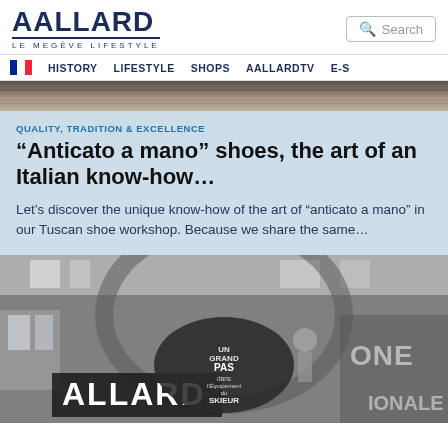AALLARD LE MEGÈVE LIFESTYLE
[Figure (logo): AALLARD LE MEGÈVE LIFESTYLE logo in dark navy blue with underline]
Search
HISTORY LIFESTYLE SHOPS AALLARDTV E-S
[Figure (photo): Top strip of a dark blurred vintage photograph]
QUALITY, TRADITION & EXCELLENCE
“Anticato a mano” shoes, the art of an Italian know-how…
Let’s discover the unique know-how of the art of “anticato a mano” in our Tuscan shoe workshop. Because we share the same…
[Figure (photo): Black and white vintage photo of a large exhibition hall with ALLARD signage and UN GRAND PAS dans l'Équipement du SKIEUR banner]